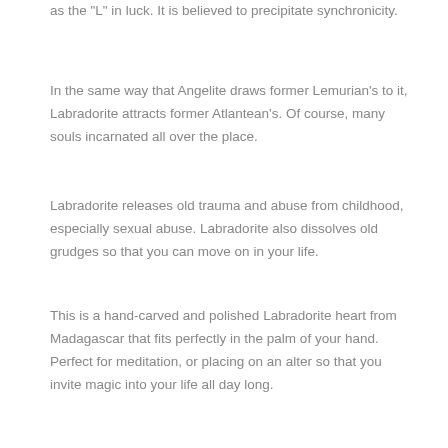as the "L" in luck.  It is believed to precipitate synchronicity.
In the same way that Angelite draws former Lemurian's to it, Labradorite attracts former Atlantean's.  Of course, many souls incarnated all over the place.
Labradorite releases old trauma and abuse from childhood, especially sexual abuse.  Labradorite also dissolves old grudges so that you can move on in your life.
This is a hand-carved and polished Labradorite heart from Madagascar that fits perfectly in the palm of your hand.  Perfect for meditation, or placing on an alter so that you invite magic into your life all day long.
Labradorite healing properties:
Labradorite awakens your inner vision while offering psychic protection at the same time.  Working with Labradorite strengthens